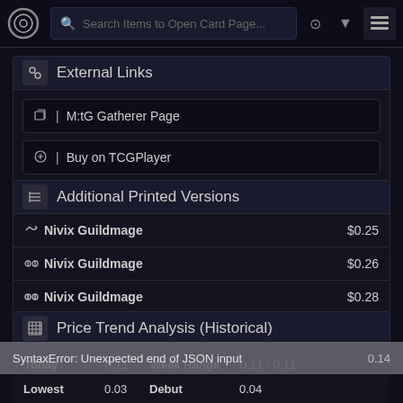Search Items to Open Card Page...
External Links
M:tG Gatherer Page
Buy on TCGPlayer
Additional Printed Versions
| Name | Price |
| --- | --- |
| Nivix Guildmage | $0.25 |
| Nivix Guildmage | $0.26 |
| Nivix Guildmage | $0.28 |
Price Trend Analysis (Historical)
| Label | Value | Label2 | Value2 |
| --- | --- | --- | --- |
| Today | 0.11 | Week Range | 0.11 - 0.11 |
| Yesterday | 0.11 | 52wk Range | 0.08 - 0.11 |
| Lowest | 0.03 | Debut | 0.04 |
SyntaxError: Unexpected end of JSON input